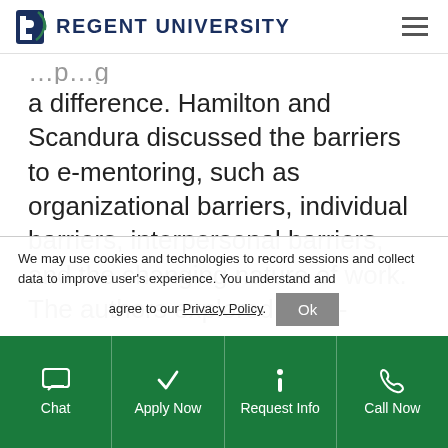Regent University
a difference. Hamilton and Scandura discussed the barriers to e-mentoring, such as organizational barriers, individual barriers, interpersonal barriers, and the changing nature of work. The authors explored the e-
We may use cookies and technologies to record sessions and collect data to improve user's experience. You understand and agree to our Privacy Policy.
Chat | Apply Now | Request Info | Call Now